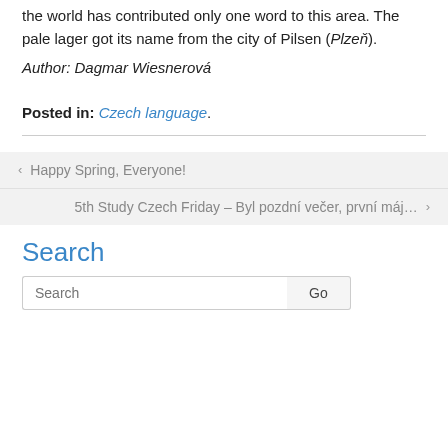the world has contributed only one word to this area. The pale lager got its name from the city of Pilsen (Plzeň).
Author: Dagmar Wiesnerová
Posted in: Czech language.
‹ Happy Spring, Everyone!
5th Study Czech Friday – Byl pozdní večer, první máj… ›
Search
Search Go